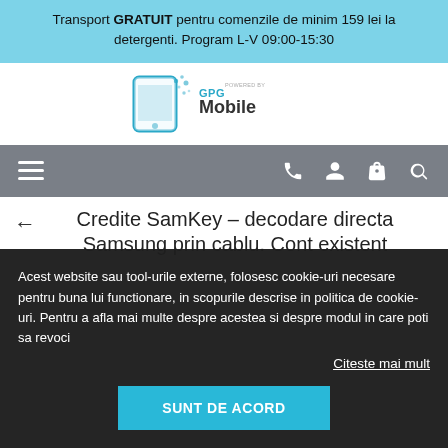Transport GRATUIT pentru comenzile de minim 159 lei la detergenti. Program L-V 09:00-15:30
[Figure (logo): GPG Mobile logo with smartphone icon and fragmented design]
[Figure (other): Navigation bar with hamburger menu, phone icon, user icon, cart icon, search icon]
Credite SamKey – decodare directa Samsung prin cablu. Cont existent
Acest website sau tool-urile externe, folosesc cookie-uri necesare pentru buna lui functionare, in scopurile descrise in politica de cookie-uri. Pentru a afla mai multe despre acestea si despre modul in care poti sa revoci
Citeste mai mult
SUNT DE ACORD